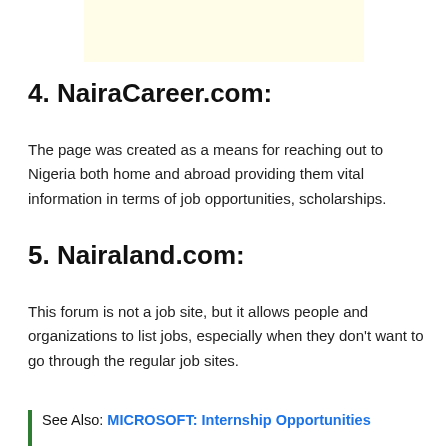[Figure (other): Light yellow advertisement banner at the top of the page]
4. NairaCareer.com:
The page was created as a means for reaching out to Nigeria both home and abroad providing them vital information in terms of job opportunities, scholarships.
5. Nairaland.com:
This forum is not a job site, but it allows people and organizations to list jobs, especially when they don't want to go through the regular job sites.
See Also: MICROSOFT: Internship Opportunities